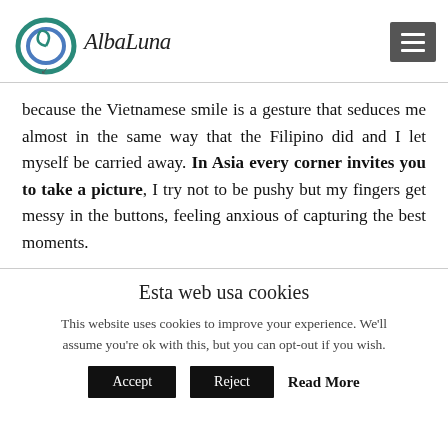[Figure (logo): Alba Luna travel blog logo with stylized circular blue/green swirl design and cursive text reading AlbaLuna]
because the Vietnamese smile is a gesture that seduces me almost in the same way that the Filipino did and I let myself be carried away. In Asia every corner invites you to take a picture, I try not to be pushy but my fingers get messy in the buttons, feeling anxious of capturing the best moments.
Esta web usa cookies
This website uses cookies to improve your experience. We'll assume you're ok with this, but you can opt-out if you wish.